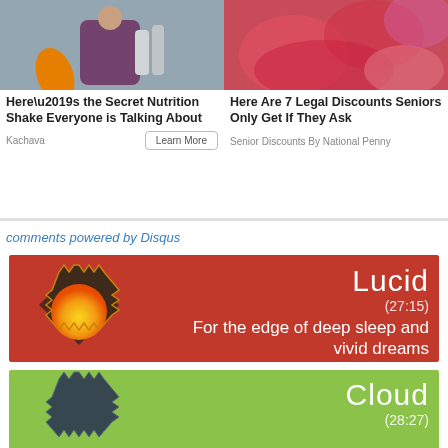[Figure (photo): Woman in wetsuit with surfboard and nutrition shake bottles]
[Figure (photo): Close-up of raw red meat]
Here’s the Secret Nutrition Shake Everyone is Talking About
Here Are 7 Legal Discounts Seniors Only Get If They Ask
Kachava
Learn More
Senior Discounts By National Penny
comments powered by Disqus
[Figure (illustration): Red banner ad for 'Lucid (27:15)' sleep product — For the edge of deep sleep and vivid dreams, with puzzle-piece sun icon]
[Figure (illustration): Green banner ad for 'Cloud (28:27)' sleep product, with puzzle-piece icon]